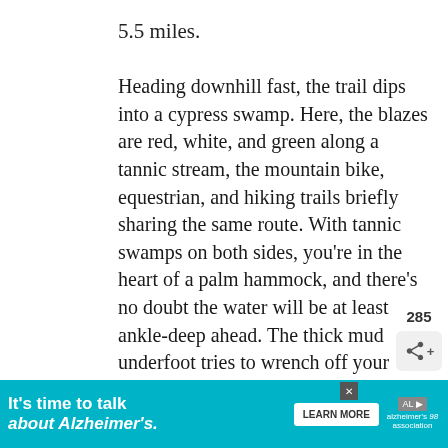5.5 miles.
Heading downhill fast, the trail dips into a cypress swamp. Here, the blazes are red, white, and green along a tannic stream, the mountain bike, equestrian, and hiking trails briefly sharing the same route. With tannic swamps on both sides, you're in the heart of a palm hammock, and there's no doubt the water will be at least ankle-deep ahead. The thick mud underfoot tries to wrench off your shoes. Sweetgum and cypress tower over a stand of native bamboo. Climbing out of the muck to slightly elevated drier terrain, the trail reaches a bench. If you haven't lathered on the
[Figure (other): Green circular heart/favorite button with heart icon, count 285, and share button below]
It's time to talk about Alzheimer's. LEARN MORE